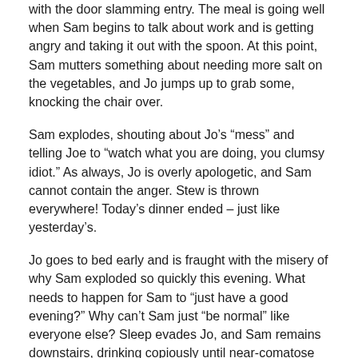with the door slamming entry. The meal is going well when Sam begins to talk about work and is getting angry and taking it out with the spoon. At this point, Sam mutters something about needing more salt on the vegetables, and Jo jumps up to grab some, knocking the chair over.
Sam explodes, shouting about Jo's “mess” and telling Joe to “watch what you are doing, you clumsy idiot.” As always, Jo is overly apologetic, and Sam cannot contain the anger. Stew is thrown everywhere! Today’s dinner ended – just like yesterday’s.
Jo goes to bed early and is fraught with the misery of why Sam exploded so quickly this evening. What needs to happen for Sam to “just have a good evening?” Why can’t Sam just “be normal” like everyone else? Sleep evades Jo, and Sam remains downstairs, drinking copiously until near-comatose on the sofa. Day-in and day-out, this pattern repeats.
Morning Has Broken